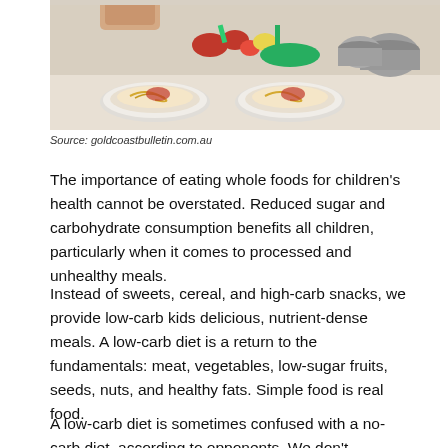[Figure (photo): Photo of plates of pasta/food on a white surface with vegetables and cooking pots in the background, hands visible at top]
Source: goldcoastbulletin.com.au
The importance of eating whole foods for children's health cannot be overstated. Reduced sugar and carbohydrate consumption benefits all children, particularly when it comes to processed and unhealthy meals.
Instead of sweets, cereal, and high-carb snacks, we provide low-carb kids delicious, nutrient-dense meals. A low-carb diet is a return to the fundamentals: meat, vegetables, low-sugar fruits, seeds, nuts, and healthy fats. Simple food is real food.
A low-carb diet is sometimes confused with a no-carb diet, according to opponents. We don't recommend totally